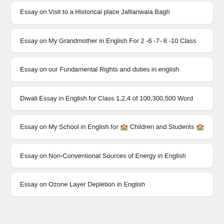Essay on Visit to a Historical place Jallianwala Bagh
Essay on My Grandmother in English For 2 -6 -7- 8 -10 Class
Essay on our Fundamental Rights and duties in english
Diwali Essay in English for Class 1,2,4 of 100,300,500 Word
Essay on My School in English for 🏫 Children and Students 🏫
Essay on Non-Conventional Sources of Energy in English
Essay on Ozone Layer Depletion in English